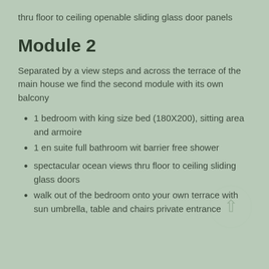thru floor to ceiling openable sliding glass door panels
Module 2
Separated by a view steps and across the terrace of the main house we find the second module with its own balcony
1 bedroom with king size bed (180X200), sitting area and armoire
1 en suite full bathroom wit barrier free shower
spectacular ocean views thru floor to ceiling sliding glass doors
walk out of the bedroom onto your own terrace with sun umbrella, table and chairs private entrance